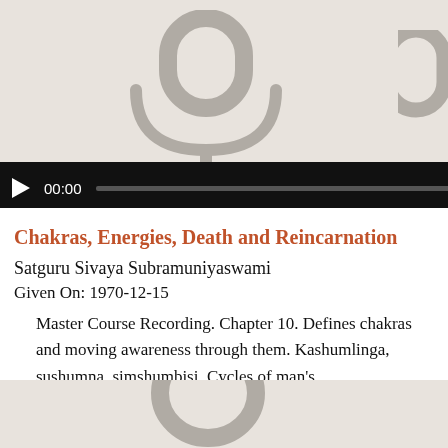[Figure (screenshot): Audio player interface showing a microphone icon on a beige background with a black audio playback bar showing play button, timestamp 00:00, and progress track]
Chakras, Energies, Death and Reincarnation
Satguru Sivaya Subramuniyaswami
Given On: 1970-12-15
Master Course Recording. Chapter 10. Defines chakras and moving awareness through them. Kashumlinga, sushumna, simshumbisi. Cycles of man's...
[Figure (illustration): Partial microphone icon on beige background at bottom of page]